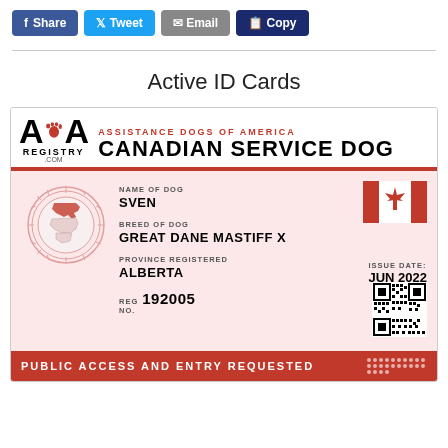[Figure (screenshot): Social share buttons: f Share (Facebook, blue), Tweet (Twitter, light blue), Email (gray), Copy (dark blue)]
Active ID Cards
[Figure (infographic): ADA Registry Canadian Service Dog ID Card for dog named Sven, breed Great Dane Mastiff X, province Alberta, Reg No. 192005, Issue Date Jun 2022. Card features Canadian flag, QR code, and map illustration. Footer reads PUBLIC ACCESS AND ENTRY REQUESTED.]